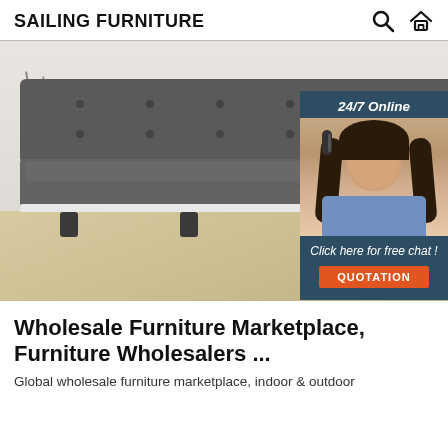SAILING FURNITURE
[Figure (photo): A grey tufted leather sofa/futon on a light wood floor against a white wall, with a decorative vase on the left. An overlay chat widget shows '24/7 Online' with a smiling female customer service agent wearing a headset, and a 'QUOTATION' button.]
Wholesale Furniture Marketplace, Furniture Wholesalers ...
Global wholesale furniture marketplace, indoor & outdoor